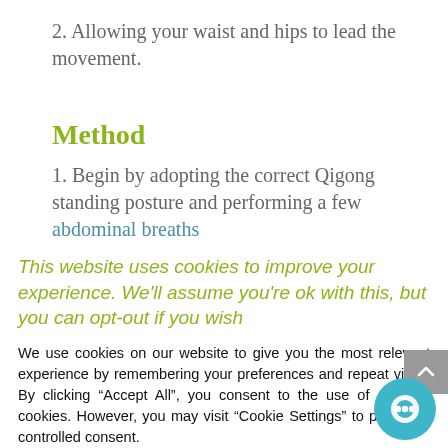2. Allowing your waist and hips to lead the movement.
Method
1. Begin by adopting the correct Qigong standing posture and performing a few abdominal breaths
This website uses cookies to improve your experience. We'll assume you're ok with this, but you can opt-out if you wish
We use cookies on our website to give you the most relevant experience by remembering your preferences and repeat visits. By clicking “Accept All”, you consent to the use of ALL the cookies. However, you may visit “Cookie Settings” to provide a controlled consent.